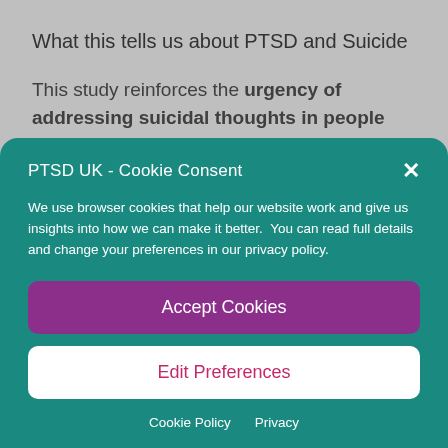What this tells us about PTSD and Suicide
This study reinforces the urgency of addressing suicidal thoughts in people with PTSD and C-PTSD. It also
PTSD UK - Cookie Consent
We use browser cookies that help our website work and give us insights into how we can make it better.  You can read full details and change your preferences in our privacy policy.
Accept Cookies
Edit Preferences
Cookie Policy   Privacy